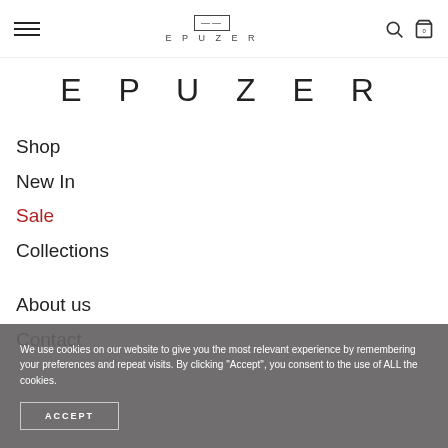EPUZER navigation header with hamburger menu, logo, search icon, and bag icon
EPUZER
Shop
New In
Sale
Collections
About us
Contact
We use cookies on our website to give you the most relevant experience by remembering your preferences and repeat visits. By clicking "Accept", you consent to the use of ALL the cookies.
ACCEPT